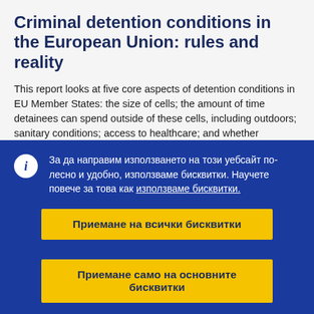Criminal detention conditions in the European Union: rules and reality
This report looks at five core aspects of detention conditions in EU Member States: the size of cells; the amount of time detainees can spend outside of these cells, including outdoors; sanitary conditions; access to healthcare; and whether detainees are protected from violence. For each of these aspects of detention conditions
За да направим използването на този уебсайт по-лесно и удобно, използваме бисквитки. Научете повече за това как използваме бисквитки.
Приемане на всички бисквитки
Приемане само на основните бисквитки